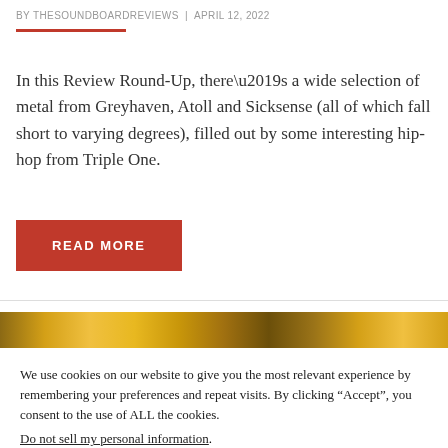BY THESOUNDBOARDREVIEWS  |  APRIL 12, 2022
In this Review Round-Up, there’s a wide selection of metal from Greyhaven, Atoll and Sicksense (all of which fall short to varying degrees), filled out by some interesting hip-hop from Triple One.
READ MORE
[Figure (photo): Gold metallic texture banner strip]
We use cookies on our website to give you the most relevant experience by remembering your preferences and repeat visits. By clicking “Accept”, you consent to the use of ALL the cookies. Do not sell my personal information.
Cookie Settings  Accept